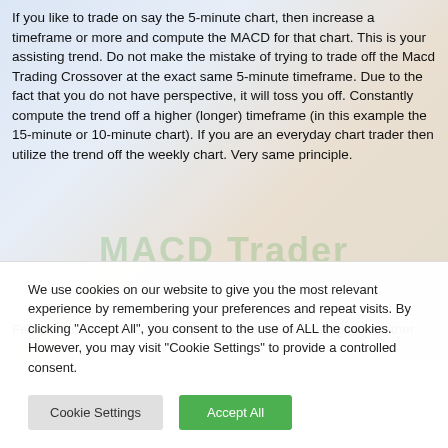If you like to trade on say the 5-minute chart, then increase a timeframe or more and compute the MACD for that chart. This is your assisting trend. Do not make the mistake of trying to trade off the Macd Trading Crossover at the exact same 5-minute timeframe. Due to the fact that you do not have perspective, it will toss you off. Constantly compute the trend off a higher (longer) timeframe (in this example the 15-minute or 10-minute chart). If you are an everyday chart trader then utilize the trend off the weekly chart. Very same principle.
Fears we have not dealt with or accepted. * Hurt feelings that either
We use cookies on our website to give you the most relevant experience by remembering your preferences and repeat visits. By clicking "Accept All", you consent to the use of ALL the cookies. However, you may visit "Cookie Settings" to provide a controlled consent.